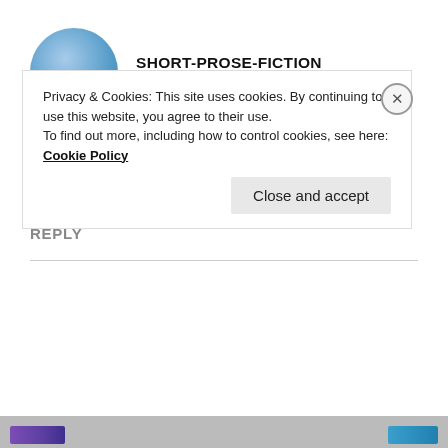[Figure (photo): Circular avatar image with blue gradient background representing user SHORT-PROSE-FICTION]
SHORT-PROSE-FICTION
Jul 14, 2020 at 5:15 am
Congratulations sweetheart. Well deserved.
★ Liked by 1 person
REPLY
Privacy & Cookies: This site uses cookies. By continuing to use this website, you agree to their use.
To find out more, including how to control cookies, see here: Cookie Policy
Close and accept